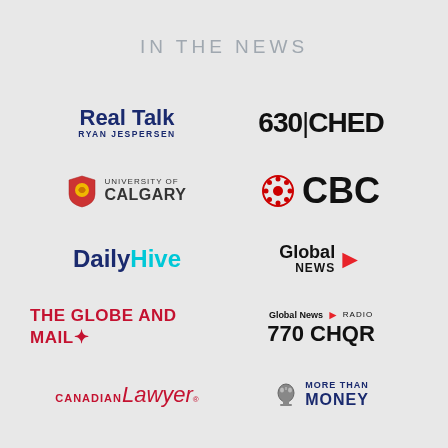IN THE NEWS
[Figure (logo): Real Talk Ryan Jespersen logo]
[Figure (logo): 630 CHED logo]
[Figure (logo): University of Calgary logo]
[Figure (logo): CBC logo]
[Figure (logo): Daily Hive logo]
[Figure (logo): Global News logo]
[Figure (logo): The Globe and Mail logo]
[Figure (logo): Global News Radio 770 CHQR logo]
[Figure (logo): Canadian Lawyer logo]
[Figure (logo): More Than Money logo]